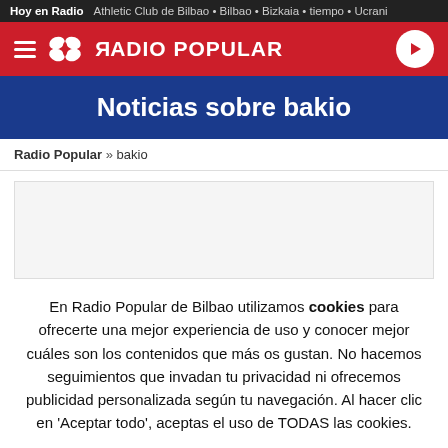Hoy en Radio  Athletic Club de Bilbao • Bilbao • Bizkaia • tiempo • Ucrani
[Figure (logo): Radio Popular logo with hamburger menu icon, butterfly logo mark, RADIO POPULAR text in white on red background, and play button]
Noticias sobre bakio
Radio Popular » bakio
[Figure (other): Gray content placeholder area]
En Radio Popular de Bilbao utilizamos cookies para ofrecerte una mejor experiencia de uso y conocer mejor cuáles son los contenidos que más os gustan. No hacemos seguimientos que invadan tu privacidad ni ofrecemos publicidad personalizada según tu navegación. Al hacer clic en 'Aceptar todo', aceptas el uso de TODAS las cookies.
Rechazar y salir | Aceptar todas y continuar | Leer más